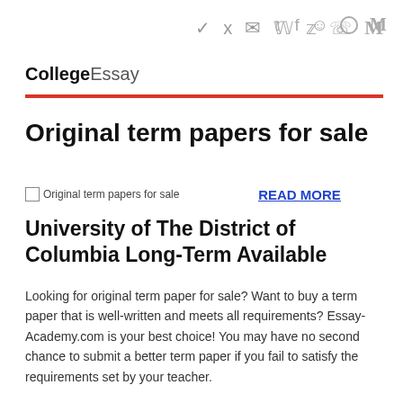🐦 f 👻 ◯ M
CollegeEssay
Original term papers for sale
[Figure (other): Broken image placeholder for 'Original term papers for sale']
READ MORE
University of The District of Columbia Long-Term Available
Looking for original term paper for sale? Want to buy a term paper that is well-written and meets all requirements? Essay-Academy.com is your best choice! You may have no second chance to submit a better term paper if you fail to satisfy the requirements set by your teacher.